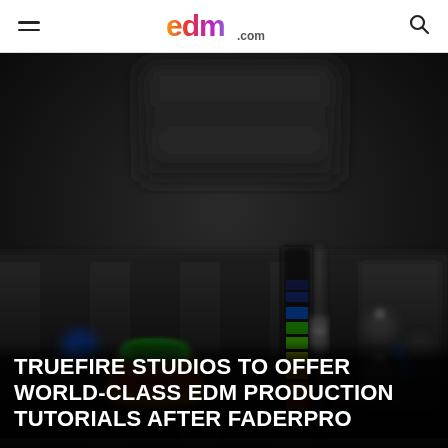edm.com
[Figure (photo): Close-up of a professional DJ mixing board/audio console with colorful fader caps and LED meters, dark background, blurred studio equipment in background.]
TRUEFIRE STUDIOS TO OFFER WORLD-CLASS EDM PRODUCTION TUTORIALS AFTER FADERPRO